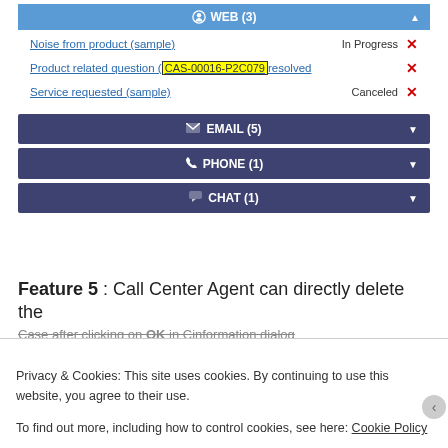[Figure (screenshot): Web cases section showing WEB (3) header with three case rows: Noise from product (sample) - In Progress, Product related question with highlighted case ID CAS-00016-P2C079 - resolved, Service requested (sample) - Canceled. Below are accordion buttons for EMAIL (5), PHONE (1), and CHAT (1).]
Feature 5 : Call Center Agent can directly delete the Case after clicking on OK in Cinformation dialog
Privacy & Cookies: This site uses cookies. By continuing to use this website, you agree to their use.
To find out more, including how to control cookies, see here: Cookie Policy
Close and accept